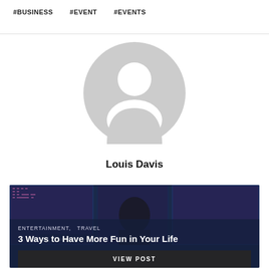#BUSINESS
#EVENT
#EVENTS
[Figure (illustration): Default user avatar placeholder — grey circle with white silhouette of a person (head and shoulders)]
Louis Davis
[Figure (photo): A woman with dark hair standing in front of a large departure board at an airport, viewed from behind; overlaid with text: ENTERTAINMENT, TRAVEL and title '3 Ways to Have More Fun in Your Life' and a 'VIEW POST' button]
ENTERTAINMENT,   TRAVEL
3 Ways to Have More Fun in Your Life
VIEW POST